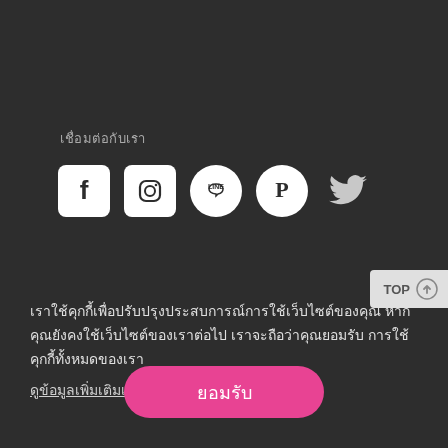เชื่อมต่อกับเรา
[Figure (illustration): Row of social media icons: Facebook, Instagram, LINE, Pinterest, Twitter on dark background]
เราใช้คุกกี้เพื่อปรับปรุงประสบการณ์การใช้เว็บไซต์ของคุณ หากคุณยังคงใช้เว็บไซต์ของเราต่อไป เราจะถือว่าคุณยอมรับการใช้คุกกี้ทั้งหมดของเรา
ดูข้อมูลเพิ่มเติมเกี่ยวกับนโยบายคุกกี้ของเรา
ยอมรับ